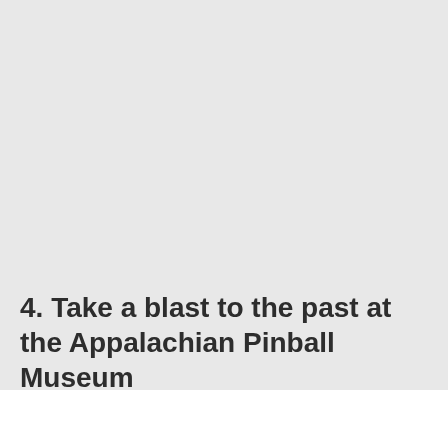4. Take a blast to the past at the Appalachian Pinball Museum